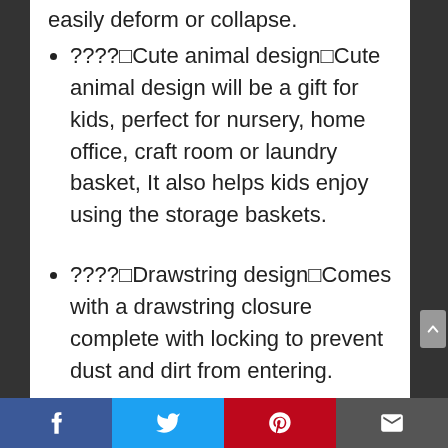????🐾Cute animal design🐾Cute animal design will be a gift for kids, perfect for nursery, home office, craft room or laundry basket, It also helps kids enjoy using the storage baskets.
????🔒Drawstring design🔒Comes with a drawstring closure complete with locking to prevent dust and dirt from entering.
Description
Facebook | Twitter | Pinterest | Email